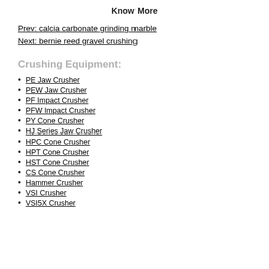Know More
Prev: calcia carbonate grinding marble
Next: bernie reed gravel crushing
Crushing Equipment:
PE Jaw Crusher
PEW Jaw Crusher
PF Impact Crusher
PFW Impact Crusher
PY Cone Crusher
HJ Series Jaw Crusher
HPC Cone Crusher
HPT Cone Crusher
HST Cone Crusher
CS Cone Crusher
Hammer Crusher
VSI Crusher
VSI5X Crusher